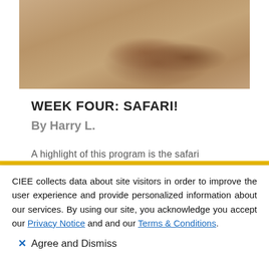[Figure (photo): Close-up photograph of dry sandy/dusty ground with brown rocky formations, appearing to be an African savanna or safari landscape.]
WEEK FOUR: SAFARI!
By Harry L.
A highlight of this program is the safari
CIEE collects data about site visitors in order to improve the user experience and provide personalized information about our services. By using our site, you acknowledge you accept our Privacy Notice and and our Terms & Conditions.
✕ Agree and Dismiss